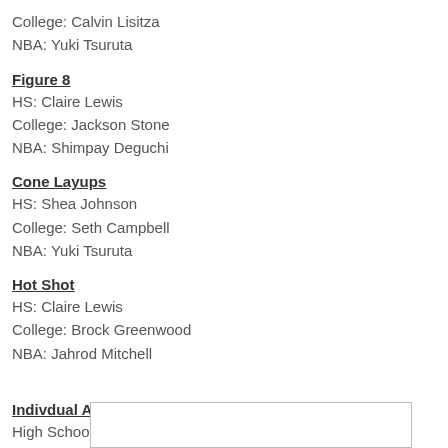College: Calvin Lisitza
NBA: Yuki Tsuruta
Figure 8
HS: Claire Lewis
College: Jackson Stone
NBA: Shimpay Deguchi
Cone Layups
HS: Shea Johnson
College: Seth Campbell
NBA: Yuki Tsuruta
Hot Shot
HS: Claire Lewis
College: Brock Greenwood
NBA: Jahrod Mitchell
Indivdual Awards
High School:
[Figure (other): Empty white box/form field]